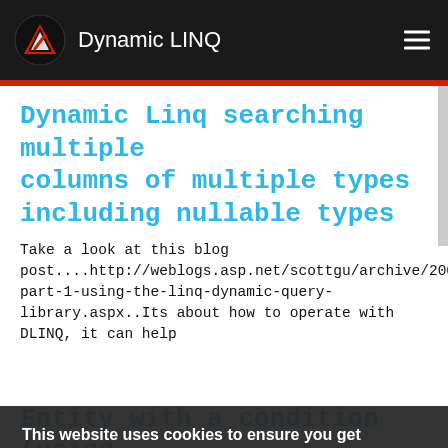Dynamic LINQ
Dynamic Linq searching multiple columns of multiple types including nullable types
Take a look at this blog post....http://weblogs.asp.net/scottgu/archive/2008/01/07/linq-part-1-using-the-linq-dynamic-query-library.aspx..Its about how to operate with DLINQ, it can help
This website uses cookies to ensure you get the best experience on our website. Michael Samteladze
Learn more
Got it!
Entity with a condition (using